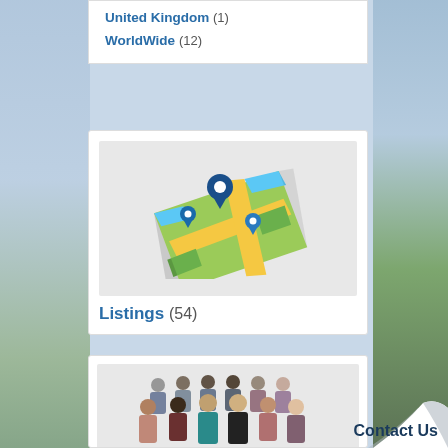United Kingdom (1)
WorldWide (12)
[Figure (illustration): Map icon with location pins showing a stylized map with green and yellow roads and blue location markers]
Listings (54)
[Figure (photo): Group photo of diverse business professionals standing together]
Contact Us